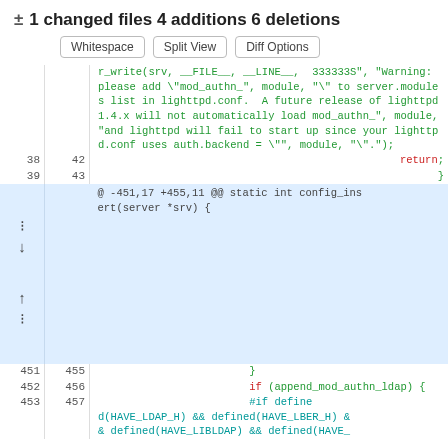± 1 changed files 4 additions 6 deletions
Whitespace | Split View | Diff Options
[Figure (screenshot): Code diff view showing changed lines in a C source file. Lines 38/42 show 'return;', lines 39/43 show '}', a hunk header shows '@ -451,17 +455,11 @@ static int config_insert(server *srv) {', lines 451/455 show '}', lines 452/456 show 'if (append_mod_authn_ldap) {', lines 453/457 show '#if defined(HAVE_LDAP_H) && defined(HAVE_LBER_H) && defined(HAVE_LIBLDAP) && defined(HAVE_'.]